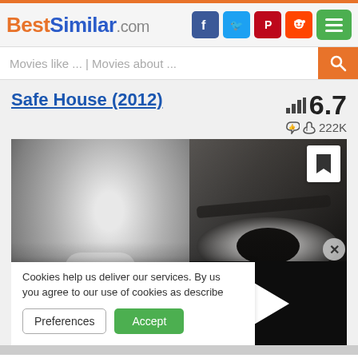BestSimilar.com
Movies like ... | Movies about ...
Safe House (2012)
6.7
222K
[Figure (photo): Movie poster for Safe House (2012) showing two faces in black and white - a man in a suit on the left and a close-up eye on the right, with a video play button overlay]
Cookies help us deliver our services. By us you agree to our use of cookies as describe
Preferences   Accept